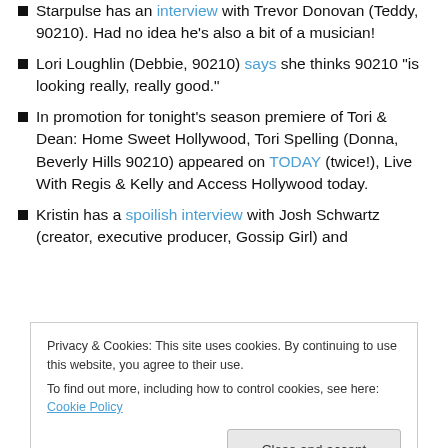Starpulse has an interview with Trevor Donovan (Teddy, 90210). Had no idea he's also a bit of a musician!
Lori Loughlin (Debbie, 90210) says she thinks 90210 "is looking really, really good."
In promotion for tonight's season premiere of Tori & Dean: Home Sweet Hollywood, Tori Spelling (Donna, Beverly Hills 90210) appeared on TODAY (twice!), Live With Regis & Kelly and Access Hollywood today.
Kristin has a spoilish interview with Josh Schwartz (creator, executive producer, Gossip Girl) and
Privacy & Cookies: This site uses cookies. By continuing to use this website, you agree to their use.
To find out more, including how to control cookies, see here: Cookie Policy
Close and accept
Bl...b...l...s (S...e... G...s... G...) and M...t...